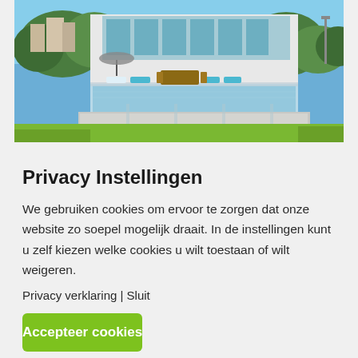[Figure (photo): Exterior photo of a modern villa with an infinity pool, glass railings, lounge chairs, and green lawn, with hillside houses and trees in the background under a blue sky.]
Privacy Instellingen
We gebruiken cookies om ervoor te zorgen dat onze website zo soepel mogelijk draait. In de instellingen kunt u zelf kiezen welke cookies u wilt toestaan of wilt weigeren.
Privacy verklaring | Sluit
Accepteer cookies
Instellingen